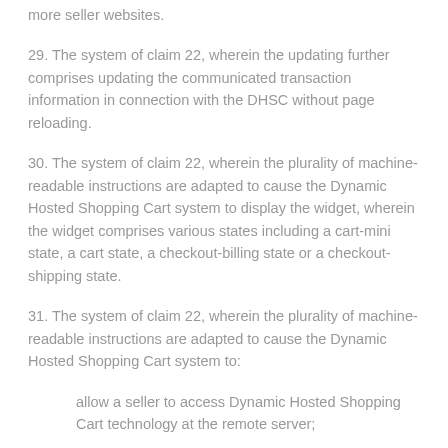more seller websites.
29. The system of claim 22, wherein the updating further comprises updating the communicated transaction information in connection with the DHSC without page reloading.
30. The system of claim 22, wherein the plurality of machine-readable instructions are adapted to cause the Dynamic Hosted Shopping Cart system to display the widget, wherein the widget comprises various states including a cart-mini state, a cart state, a checkout-billing state or a checkout-shipping state.
31. The system of claim 22, wherein the plurality of machine-readable instructions are adapted to cause the Dynamic Hosted Shopping Cart system to:
allow a seller to access Dynamic Hosted Shopping Cart technology at the remote server;
allow the seller to access APIs provided by the remote server using the Dynamic Hosted Shopping Cart technology; and